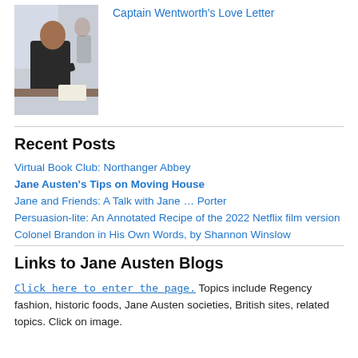[Figure (photo): Photo of a man writing or reading at a table, indoors, dark clothing]
Captain Wentworth's Love Letter
Recent Posts
Virtual Book Club: Northanger Abbey
Jane Austen's Tips on Moving House
Jane and Friends: A Talk with Jane … Porter
Persuasion-lite: An Annotated Recipe of the 2022 Netflix film version
Colonel Brandon in His Own Words, by Shannon Winslow
Links to Jane Austen Blogs
Click here to enter the page. Topics include Regency fashion, historic foods, Jane Austen societies, British sites, related topics. Click on image.